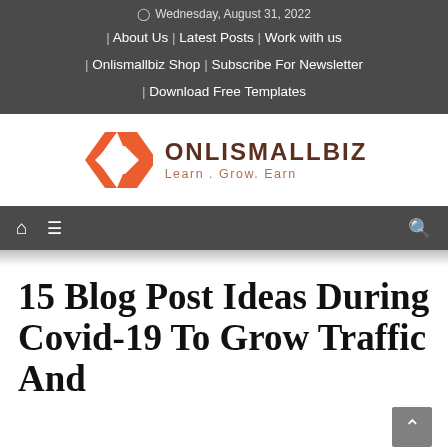Wednesday, August 31, 2022 | About Us | Latest Posts | Work with us | Onlismallbiz Shop | Subscribe For Newsletter | Download Free Templates
[Figure (logo): Onlismallbiz logo: orange diamond/infinity symbol with text ONLISMALLBIZ and tagline Learn . Grow. Earn]
Navigation menu bar with home icon, hamburger menu, and search icon
15 Blog Post Ideas During Covid-19 To Grow Traffic And